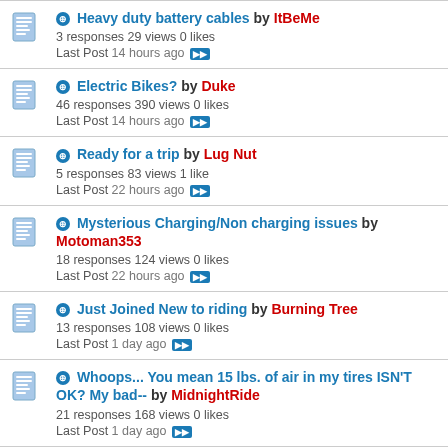Heavy duty battery cables by ItBeMe — 3 responses 29 views 0 likes — Last Post 14 hours ago
Electric Bikes? by Duke — 46 responses 390 views 0 likes — Last Post 14 hours ago
Ready for a trip by Lug Nut — 5 responses 83 views 1 like — Last Post 22 hours ago
Mysterious Charging/Non charging issues by Motoman353 — 18 responses 124 views 0 likes — Last Post 22 hours ago
Just Joined New to riding by Burning Tree — 13 responses 108 views 0 likes — Last Post 1 day ago
Whoops... You mean 15 lbs. of air in my tires ISN'T OK? My bad-- by MidnightRide — 21 responses 168 views 0 likes — Last Post 1 day ago
Not seen the end yet by 75b... (partial)